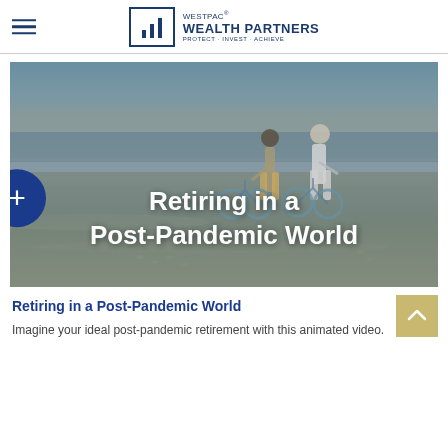WESTPAC® WEALTH PARTNERS PROTECT · INVEST · ACHIEVE
[Figure (photo): Two elderly people standing on a beach with bicycles, viewed from behind, with ocean waves in the background. Overlaid text reads 'Retiring in a Post-Pandemic World'.]
Retiring in a Post-Pandemic World
Imagine your ideal post-pandemic retirement with this animated video.